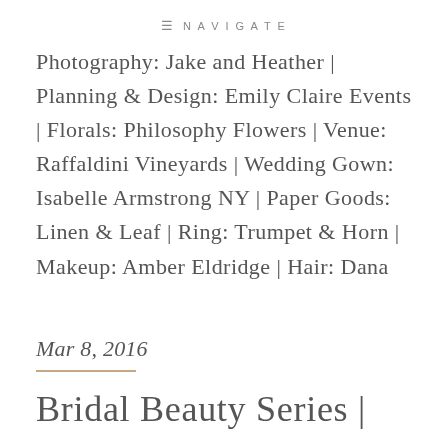≡ NAVIGATE
Photography: Jake and Heather | Planning & Design: Emily Claire Events | Florals: Philosophy Flowers | Venue: Raffaldini Vineyards | Wedding Gown: Isabelle Armstrong NY | Paper Goods: Linen & Leaf | Ring: Trumpet & Horn | Makeup: Amber Eldridge | Hair: Dana...
Mar 8, 2016
Bridal Beauty Series |